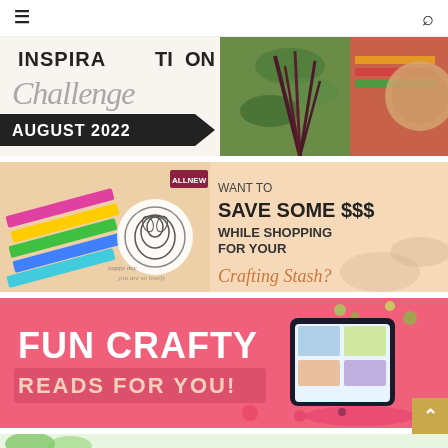☰  🔍
[Figure (illustration): Inspiration Challenge August 2022 banner with script text over crafting images and outdoor scene]
[Figure (illustration): Want to SAVE SOME $$$ WHILE SHOPPING FOR YOUR Crafting Stash? banner with crafting supplies image on peach background]
[Figure (illustration): FUN CRAFTY READS FOR YOU! banner on pink background with tablet device and floral decorations]
[Figure (illustration): Bottom partial banner with green tropical leaf design]